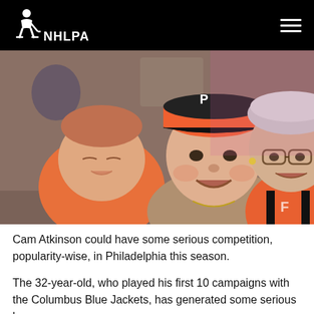NHLPA
[Figure (photo): A young man wearing a Philadelphia Flyers cap smiling with an elderly woman in an orange Flyers jersey, and a sleeping baby in an orange outfit in the foreground.]
Cam Atkinson could have some serious competition, popularity-wise, in Philadelphia this season.
The 32-year-old, who played his first 10 campaigns with the Columbus Blue Jackets, has generated some serious buzz